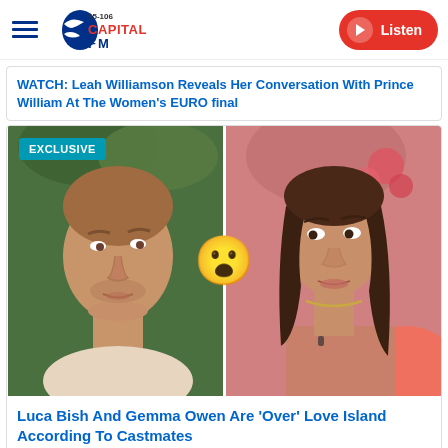Capital FM 95-106 | Listen
WATCH: Leah Williamson Reveals Her Conversation With Prince William At The Women's EURO final
[Figure (photo): Split image showing two people from Love Island: on the left, a young man (Luca Bish) looking upward in an outdoor setting with green foliage; on the right, a young woman (Gemma Owen) looking sideways while relaxing indoors. An 'EXCLUSIVE' badge is shown top-left, and a surprised face emoji is overlaid at the center.]
Luca Bish And Gemma Owen Are 'Over' Love Island According To Castmates